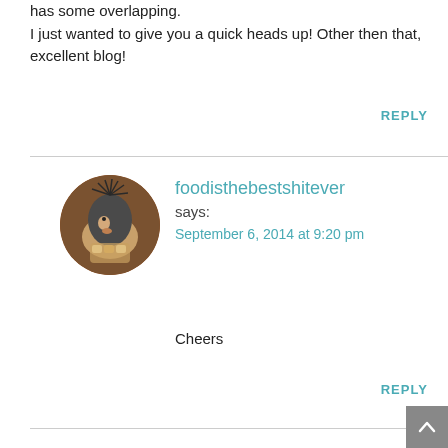has some overlapping. I just wanted to give you a quick heads up! Other then that, excellent blog!
REPLY
foodisthebestshitever
says:
September 6, 2014 at 9:20 pm
Cheers
REPLY